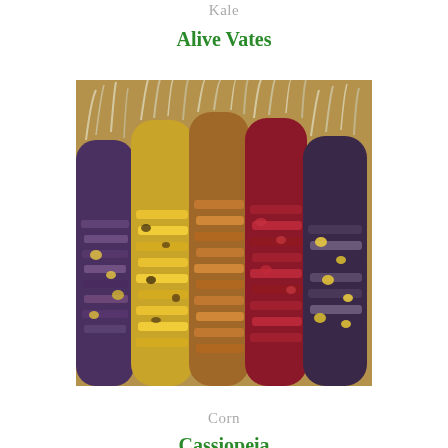Kale
Alive Vates
[Figure (photo): Five colorful ears of Indian corn (Flint corn) displayed side by side, showing purple, yellow, orange-brown, red, and mixed kernels with dried silk tassels at the top, resting on a wooden surface.]
Corn
Cassiopeia
[Figure (photo): Close-up of leafy green and purple plants growing in a garden, partially visible at the bottom of the page.]